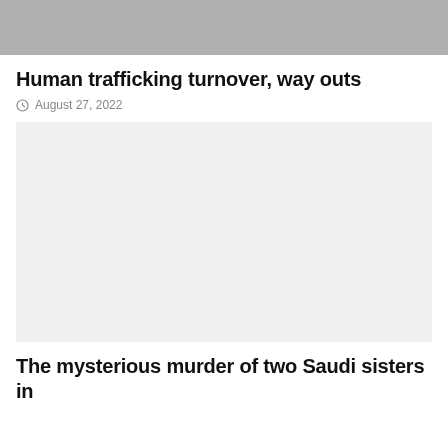[Figure (photo): Top partial image, gray/blurred photograph, cropped at top]
Human trafficking turnover, way outs
August 27, 2022
[Figure (photo): Large light gray placeholder image block]
The mysterious murder of two Saudi sisters in